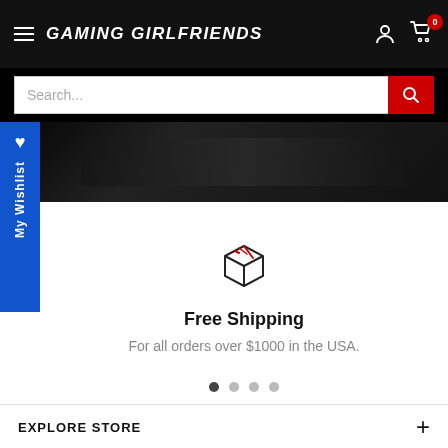GAMING GIRLFRIENDS
Search...
[Figure (screenshot): Dark hero image strip showing gaming scene]
[Figure (illustration): Package/box icon with red diagonal lines]
Free Shipping
For all orders over $1000 in the USA.
EXPLORE STORE